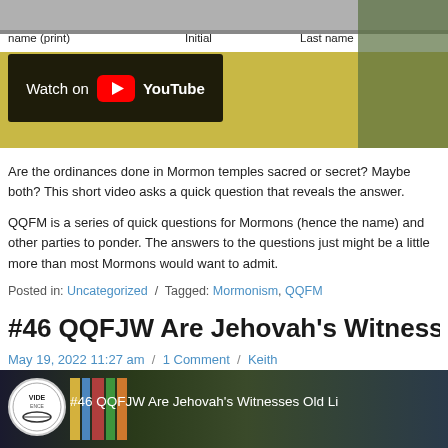[Figure (screenshot): YouTube video thumbnail showing a form with fields: name (print), Initial, Last name, with a 'Watch on YouTube' overlay button]
Are the ordinances done in Mormon temples sacred or secret? Maybe both? This short video asks a quick question that reveals the answer.
QQFM is a series of quick questions for Mormons (hence the name) and other parties to ponder. The answers to the questions just might be a little more than most Mormons would want to admit.
Posted in: Uncategorized / Tagged: Mormonism, QQFM
#46 QQFJW Are Jehovah's Witnesses Old Li...
May 19, 2022 11:27 am / 1 Comment / Keith
[Figure (screenshot): Video thumbnail for #46 QQFJW Are Jehovah's Witnesses Old Li... with logo and bookshelf background]